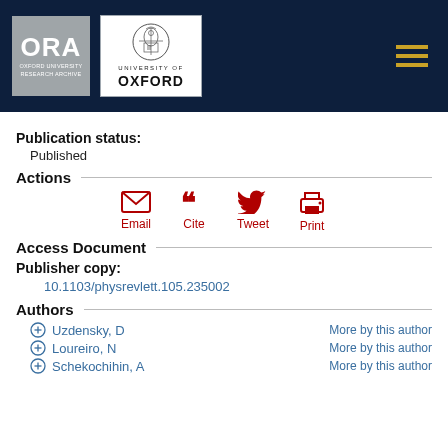[Figure (logo): ORA Oxford University Research Archive and University of Oxford logos on dark navy header with hamburger menu icon]
Publication status:
Published
Actions
[Figure (infographic): Four action icons: Email (envelope), Cite (quotation marks), Tweet (bird), Print (printer) in red color]
Access Document
Publisher copy:
10.1103/physrevlett.105.235002
Authors
+ Uzdensky, D    More by this author
+ Loureiro, N    More by this author
+ Schekochihin, A    More by this author